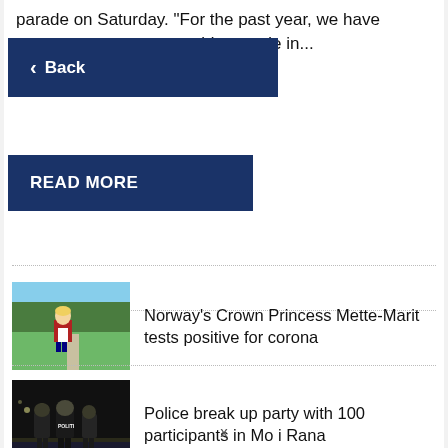parade on Saturday. "For the past year, we have
ride parade in...
< Back
READ MORE
[Figure (photo): Woman in traditional Norwegian bunad dress standing outdoors on a sunny day with green grass and trees in background]
Norway's Crown Princess Mette-Marit tests positive for corona
[Figure (photo): Police officers in dark uniforms standing at night near water, viewed from behind]
Police break up party with 100 participants in Mo i Rana